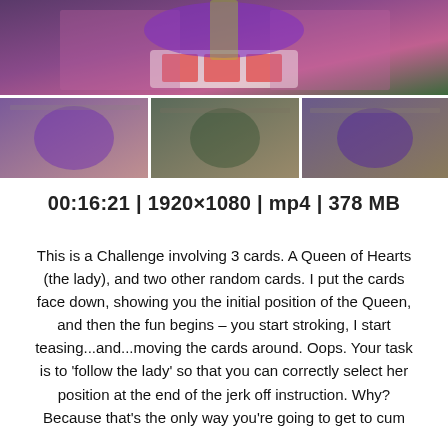[Figure (photo): Top: woman in purple outfit with playing cards on a surface. Bottom row: three frames of same woman in purple lingerie in different poses.]
00:16:21 | 1920×1080 | mp4 | 378 MB
This is a Challenge involving 3 cards. A Queen of Hearts (the lady), and two other random cards. I put the cards face down, showing you the initial position of the Queen, and then the fun begins – you start stroking, I start teasing...and...moving the cards around. Oops. Your task is to 'follow the lady' so that you can correctly select her position at the end of the jerk off instruction. Why? Because that's the only way you're going to get to cum